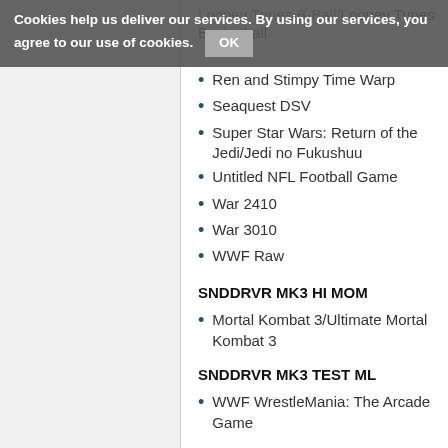Cookies help us deliver our services. By using our services, you agree to our use of cookies. OK
Looney Tunes B-Ball/Looney Tunes Basketball
Ren and Stimpy Time Warp
Seaquest DSV
Super Star Wars: Return of the Jedi/Jedi no Fukushuu
Untitled NFL Football Game
War 2410
War 3010
WWF Raw
SNDDRVR MK3 HI MOM
Mortal Kombat 3/Ultimate Mortal Kombat 3
SNDDRVR MK3 TEST ML
WWF WrestleMania: The Arcade Game
SNDDRVR DOOM RANDYL